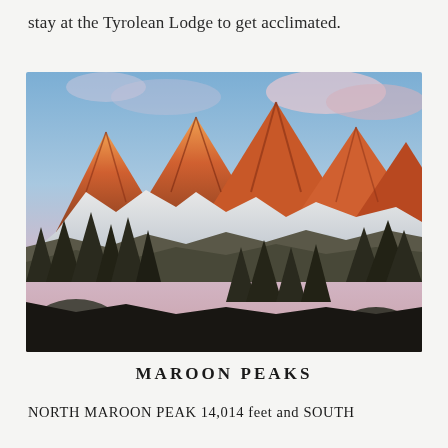stay at the Tyrolean Lodge to get acclimated.
[Figure (photo): Mountain landscape photo of Maroon Peaks at sunrise/dusk with orange-lit rocky peaks, snow-covered slopes, conifer trees in the foreground, and a colorful sky with pink and blue clouds.]
MAROON PEAKS
NORTH MAROON PEAK 14,014 feet and SOUTH